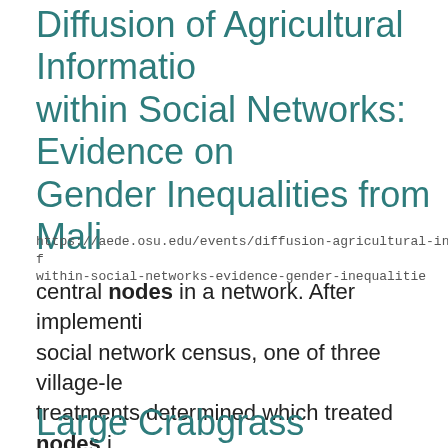Diffusion of Agricultural Information within Social Networks: Evidence on Gender Inequalities from Mali
https://aede.osu.edu/events/diffusion-agricultural-inf within-social-networks-evidence-gender-inequalitie
central nodes in a network. After implementing social network census, one of three village-le treatments determined which treated nodes i village received information about compostin random ... assignment, nodes with the highes degree, or nodes with high betweenness. We information diffusion ...
Large Crabgrass